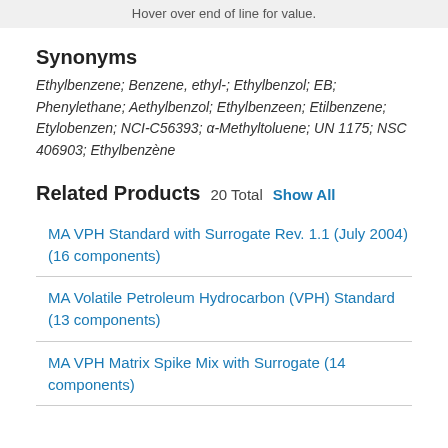Hover over end of line for value.
Synonyms
Ethylbenzene; Benzene, ethyl-; Ethylbenzol; EB; Phenylethane; Aethylbenzol; Ethylbenzeen; Etilbenzene; Etylobenzen; NCI-C56393; α-Methyltoluene; UN 1175; NSC 406903; Ethylbenzène
Related Products
20 Total
Show All
MA VPH Standard with Surrogate Rev. 1.1 (July 2004) (16 components)
MA Volatile Petroleum Hydrocarbon (VPH) Standard (13 components)
MA VPH Matrix Spike Mix with Surrogate (14 components)